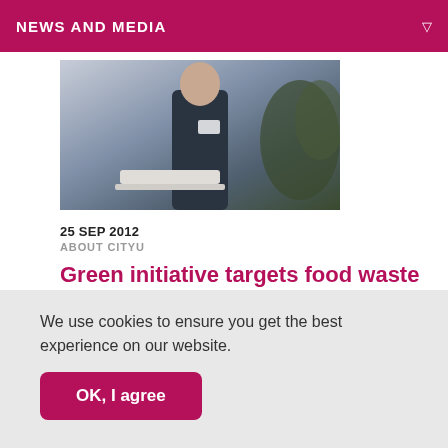NEWS AND MEDIA
[Figure (photo): Person in dark jacket standing at a podium or desk, with greenery visible in the background]
25 SEP 2012
ABOUT CITYU
Green initiative targets food waste
Activities aimed at promoting greater awareness about food waste will feature in a special campaign on campus from 25–29 September.
We use cookies to ensure you get the best experience on our website.
OK, I agree